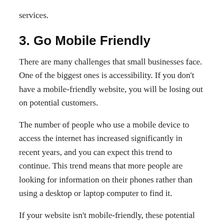services.
3. Go Mobile Friendly
There are many challenges that small businesses face. One of the biggest ones is accessibility. If you don't have a mobile-friendly website, you will be losing out on potential customers.
The number of people who use a mobile device to access the internet has increased significantly in recent years, and you can expect this trend to continue. This trend means that more people are looking for information on their phones rather than using a desktop or laptop computer to find it.
If your website isn't mobile-friendly, these potential